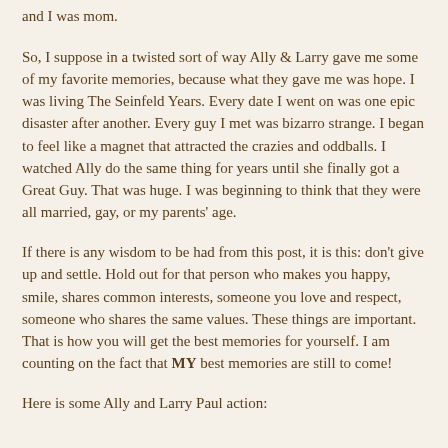and I was mom.
So, I suppose in a twisted sort of way Ally & Larry gave me some of my favorite memories, because what they gave me was hope. I was living The Seinfeld Years. Every date I went on was one epic disaster after another. Every guy I met was bizarro strange. I began to feel like a magnet that attracted the crazies and oddballs. I watched Ally do the same thing for years until she finally got a Great Guy. That was huge. I was beginning to think that they were all married, gay, or my parents' age.
If there is any wisdom to be had from this post, it is this: don't give up and settle. Hold out for that person who makes you happy, smile, shares common interests, someone you love and respect, someone who shares the same values. These things are important. That is how you will get the best memories for yourself. I am counting on the fact that MY best memories are still to come!
Here is some Ally and Larry Paul action: